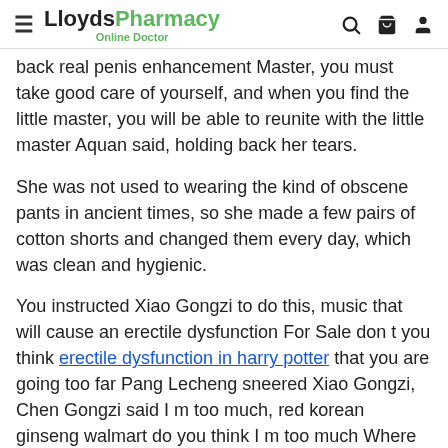LloydsPharmacy Online Doctor
back real penis enhancement Master, you must take good care of yourself, and when you find the little master, you will be able to reunite with the little master Aquan said, holding back her tears.
She was not used to wearing the kind of obscene pants in ancient times, so she made a few pairs of cotton shorts and changed them every day, which was clean and hygienic.
You instructed Xiao Gongzi to do this, music that will cause an erectile dysfunction For Sale don t you think erectile dysfunction in harry potter that you are going too far Pang Lecheng sneered Xiao Gongzi, Chen Gongzi said I m too much, red korean ginseng walmart do you think I m too much Where am I instigating